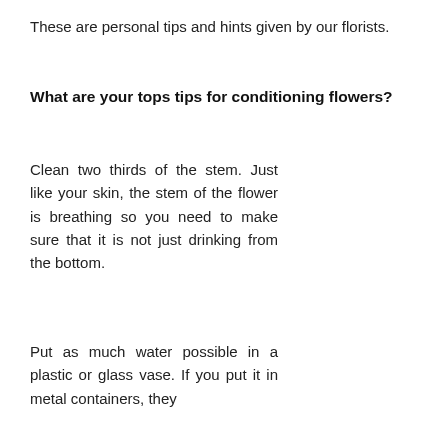These are personal tips and hints given by our florists.
What are your tops tips for conditioning flowers?
Clean two thirds of the stem. Just like your skin, the stem of the flower is breathing so you need to make sure that it is not just drinking from the bottom.
Put as much water possible in a plastic or glass vase. If you put it in metal containers, they